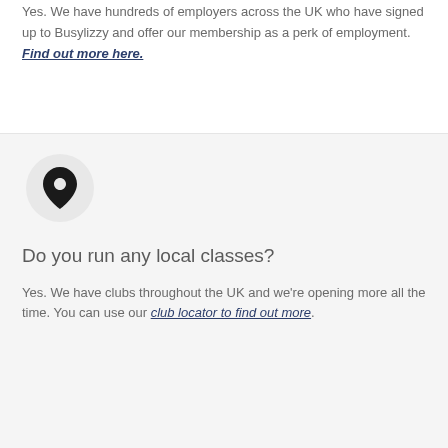Yes. We have hundreds of employers across the UK who have signed up to Busylizzy and offer our membership as a perk of employment. Find out more here.
[Figure (illustration): A map pin / location marker icon inside a light grey circle]
Do you run any local classes?
Yes. We have clubs throughout the UK and we're opening more all the time. You can use our club locator to find out more.